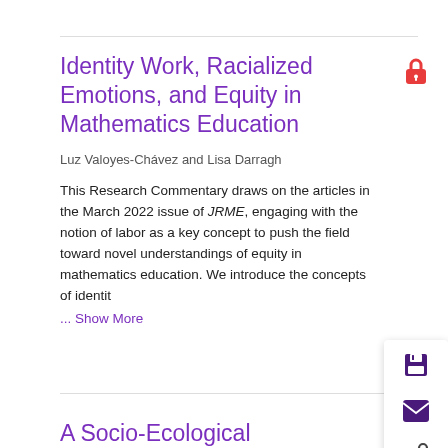Identity Work, Racialized Emotions, and Equity in Mathematics Education
Luz Valoyes-Chávez and Lisa Darragh
This Research Commentary draws on the articles in the March 2022 issue of JRME, engaging with the notion of labor as a key concept to push the field toward novel understandings of equity in mathematics education. We introduce the concepts of identit
... Show More
A Socio-Ecological